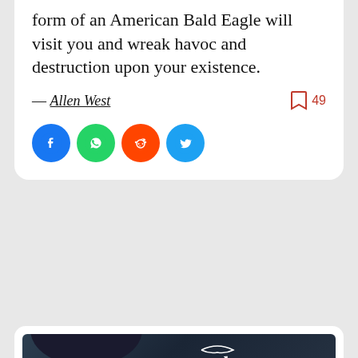form of an American Bald Eagle will visit you and wreak havoc and destruction upon your existence.
— Allen West
49
[Figure (illustration): Four social media share buttons: Facebook (blue circle), WhatsApp (green circle), Reddit (orange circle), Twitter (blue circle)]
[Figure (photo): Bald eagle with stylized calligraphy text reading 'Eagles Don't Fly With...' in white and orange lettering on a dark blue stormy background]